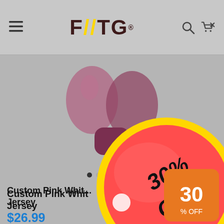[Figure (screenshot): E-commerce product page screenshot showing FUTG logo navigation bar, product image of pink/white jersey, carousel dots, product title, price, star rating, gender selector, and a 30% OFF promotional badge overlay]
FUTG® (logo)
[Figure (photo): Product image showing pink/mauve colored athletic shorts/jersey on gray background]
Custom Pink White ... Jersey
$26.99
★★★★★
Gender*
Men
[Figure (infographic): 30% OFF promotional badge - large circular red/pink badge with yellow border showing '30% OFF' text in bold black italic font]